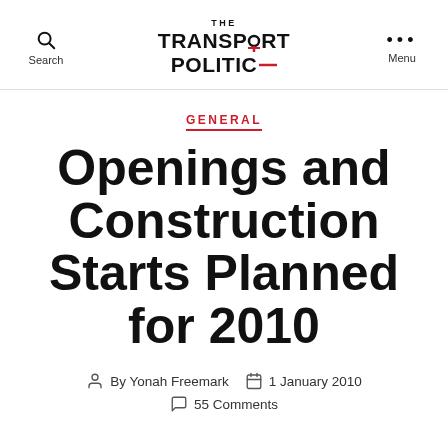Search | The Transport Politic | Menu
GENERAL
Openings and Construction Starts Planned for 2010
By Yonah Freemark   1 January 2010   55 Comments